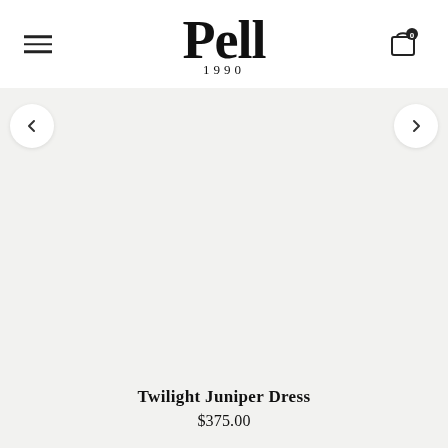[Figure (logo): Pell 1990 brand logo with hamburger menu icon on the left and shopping bag icon with '0' badge on the right]
[Figure (photo): Large light grey product image area (appears blank/loading) with left and right navigation arrows]
Twilight Juniper Dress
$375.00